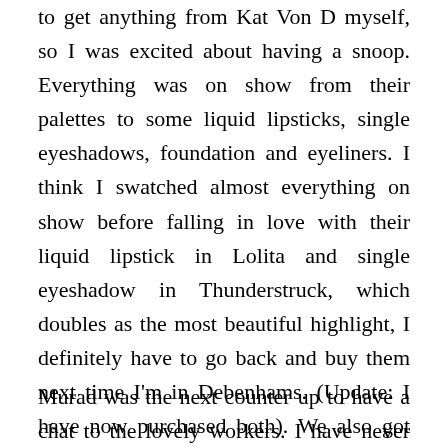to get anything from Kat Von D myself, so I was excited about having a snoop. Everything was on show from their palettes to some liquid lipsticks, single eyeshadows, foundation and eyeliners. I think I swatched almost everything on show before falling in love with their liquid lipstick in Lolita and single eyeshadow in Thunderstruck, which doubles as the most beautiful highlight, I definitely have to go back and buy them next time I'm in Debenhams. (Update: I have now purchased both). We also got told some secrets about up-and-coming products and let's just say, they are going to be insane!
Murad was the next counter up to have a chat to the lovely workers. I have never tried Murad, but I hear so